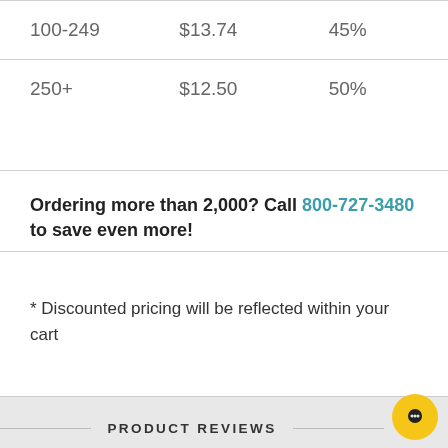| 100-249 | $13.74 | 45% |
| 250+ | $12.50 | 50% |
Ordering more than 2,000? Call 800-727-3480 to save even more!
* Discounted pricing will be reflected within your cart
PRODUCT REVIEWS